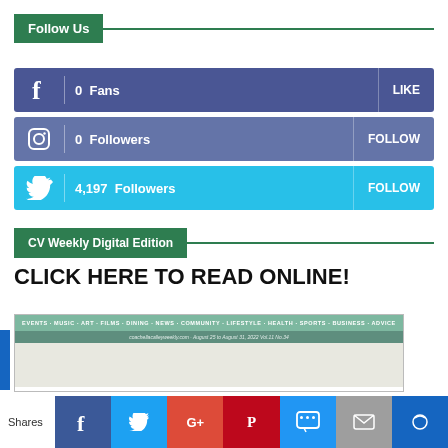Follow Us
0  Fans  LIKE
0  Followers  FOLLOW
4,197  Followers  FOLLOW
CV Weekly Digital Edition
CLICK HERE TO READ ONLINE!
[Figure (screenshot): Magazine cover preview showing CV Weekly with categories: EVENTS · MUSIC · ART · FILMS · DINING · NEWS · COMMUNITY · LIFESTYLE · HEALTH · SPORTS · BUSINESS · ADVICE. Subline: coachellacalleyweekly.com · August 25 to August 31, 2022 Vol.11 No.34]
Shares